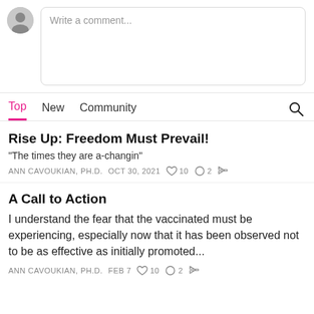[Figure (other): Comment input area with avatar and text box placeholder 'Write a comment...']
Top  New  Community
Rise Up: Freedom Must Prevail!
"The times they are a-changin"
ANN CAVOUKIAN, PH.D.  OCT 30, 2021  ♡ 10  ○ 2  ↗
A Call to Action
I understand the fear that the vaccinated must be experiencing, especially now that it has been observed not to be as effective as initially promoted...
ANN CAVOUKIAN, PH.D.  FEB 7  ♡ 10  ○ 2  ↗